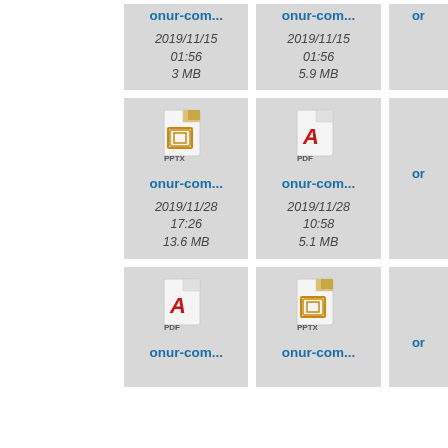[Figure (screenshot): File browser grid view showing file icons (PPTX and PDF) with filenames truncated as 'onur-com...' and metadata including dates and file sizes. Partial view of a 3-column grid layout.]
onur-com...
2019/11/15 01:56 3 MB
onur-com...
2019/11/15 01:56 5.9 MB
onur-com...
2019/11/28 17:26 13.6 MB
onur-com...
2019/11/28 10:58 5.1 MB
onur-com...
onur-com...